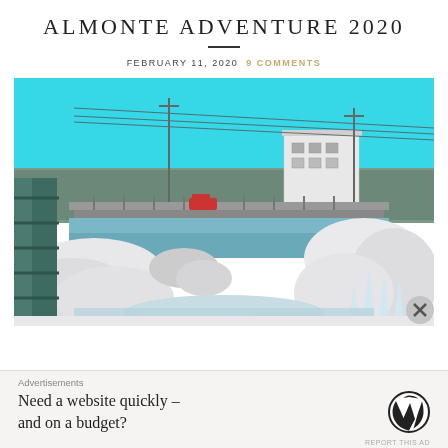ALMONTE ADVENTURE 2020
FEBRUARY 11, 2020  9 COMMENTS
[Figure (photo): Winter scene of the Mississippi River in Almonte, Ontario. Shows a snow-covered waterfall/rapids in the foreground, a stone bridge in the middle ground, a white rectangular industrial/hydro building in the background right, power lines, snow-covered trees, and a bright cyan/turquoise sky. The left side shows a metal railing structure. Some colour appears in the top portion (cyan sky, teal railings) while lower portions show snow and rushing water.]
Advertisements
Need a website quickly – and on a budget?